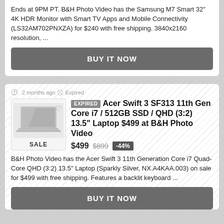Ends at 9PM PT. B&H Photo Video has the Samsung M7 Smart 32" 4K HDR Monitor with Smart TV Apps and Mobile Connectivity (LS32AM702PNXZA) for $240 with free shipping. 3840x2160 resolution, ...
BUY IT NOW
2 months ago  Expired
EXPIRED  Acer Swift 3 SF313 11th Gen Core i7 / 512GB SSD / QHD (3:2) 13.5" Laptop $499 at B&H Photo Video
$499  $899  -44%
B&H Photo Video has the Acer Swift 3 11th Generation Core i7 Quad-Core QHD (3:2) 13.5" Laptop (Sparkly Silver, NX.A4KAA.003) on sale for $499 with free shipping. Features a backlit keyboard ...
BUY IT NOW